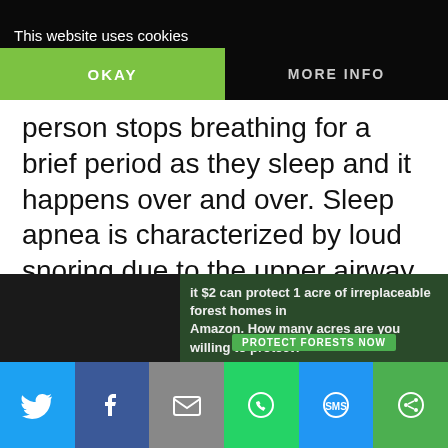This website uses cookies
...dition in which a person stops breathing for a brief period as they sleep and it happens over and over. Sleep apnea is characterized by loud snoring due to the upper airway being blocked obstructing airflow.
This interruption in breathing happens many times through the night and each time...
[Figure (infographic): Advertisement banner: 'it $2 can protect 1 acre of irreplaceable forest homes in Amazon. How many acres are you willing to protect?' with a green PROTECT FORESTS NOW button]
[Figure (infographic): Social sharing bar with Twitter, Facebook, Email, WhatsApp, SMS, and Share icons]